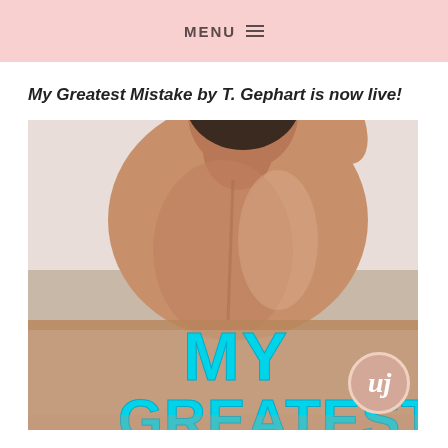MENU
My Greatest Mistake by T. Gephart is now live!
[Figure (photo): Book cover image for 'My Greatest' showing a shirtless muscular man from behind with his hand in his hair, and bold teal/cyan text reading 'MY GREATEST' overlaid on the lower portion, with a pink circular logo badge in the bottom right corner.]